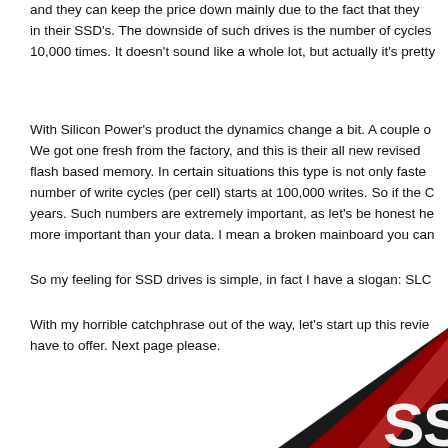and they can keep the price down mainly due to the fact that they in their SSD's. The downside of such drives is the number of cycles 10,000 times. It doesn't sound like a whole lot, but actually it's pretty
With Silicon Power's product the dynamics change a bit. A couple of We got one fresh from the factory, and this is their all new revised flash based memory. In certain situations this type is not only faster number of write cycles (per cell) starts at 100,000 writes. So if the C years. Such numbers are extremely important, as let's be honest he more important than your data. I mean a broken mainboard you can
So my feeling for SSD drives is simple, in fact I have a slogan: SLC
With my horrible catchphrase out of the way, let's start up this review have to offer. Next page please.
[Figure (photo): Bottom-right corner of the page showing a dark product with red and white branding text, partially visible SSD device corner]